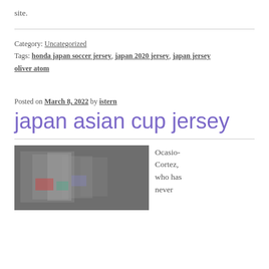site.
Category: Uncategorized
Tags: honda japan soccer jersey, japan 2020 jersey, japan jersey oliver atom
Posted on March 8, 2022 by istern
japan asian cup jersey
[Figure (photo): Photo of what appears to be display stands or frames in a dimly lit setting, with colorful items visible.]
Ocasio-Cortez, who has never